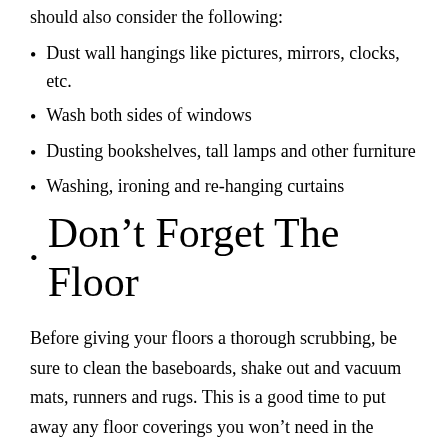should also consider the following:
Dust wall hangings like pictures, mirrors, clocks, etc.
Wash both sides of windows
Dusting bookshelves, tall lamps and other furniture
Washing, ironing and re-hanging curtains
Don't Forget The Floor
Before giving your floors a thorough scrubbing, be sure to clean the baseboards, shake out and vacuum mats, runners and rugs. This is a good time to put away any floor coverings you won't need in the summer months. Sweep and